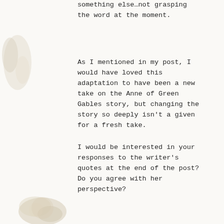something else…not grasping the word at the moment.
As I mentioned in my post, I would have loved this adaptation to have been a new take on the Anne of Green Gables story, but changing the story so deeply isn't a given for a fresh take.
I would be interested in your responses to the writer's quotes at the end of the post? Do you agree with her perspective?